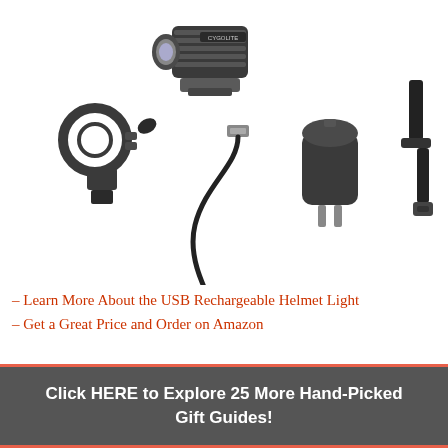[Figure (photo): Cygolite bicycle helmet light kit showing the main light unit, handlebar mount, USB charging cable, wall charger/USB adapter, and a mounting strap, all arranged on a white background.]
– Learn More About the USB Rechargeable Helmet Light
– Get a Great Price and Order on Amazon
Click HERE to Explore 25 More Hand-Picked Gift Guides!